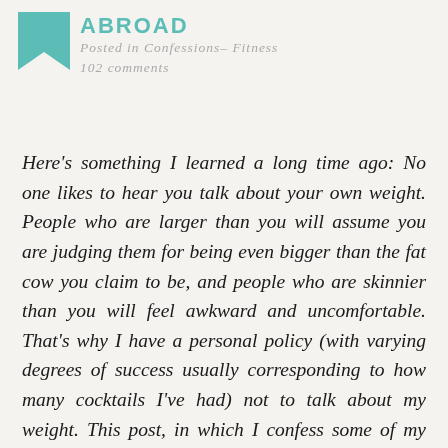ABROAD
Posted in Confessions– Fitness
102 comments
Here's something I learned a long time ago: No one likes to hear you talk about your own weight. People who are larger than you will assume you are judging them for being even bigger than the fat cow you claim to be, and people who are skinnier than you will feel awkward and uncomfortable. That's why I have a personal policy (with varying degrees of success usually corresponding to how many cocktails I've had) not to talk about my weight. This post, in which I confess some of my deepest vulnerabilities to the entire world wide web, is obviously a violation of that policy. Forgive me.